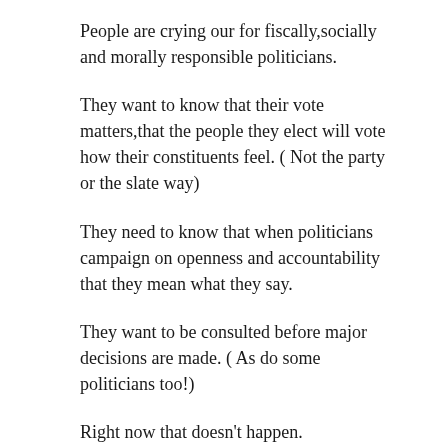People are crying our for fiscally,socially and morally responsible politicians.
They want to know that their vote matters,that the people they elect will vote how their constituents feel. ( Not the party or the slate way)
They need to know that when politicians campaign on openness and accountability that they mean what they say.
They want to be consulted before major decisions are made. ( As do some politicians too!)
Right now that doesn't happen.
Need an example? Time and time again all politicians refuse to show their expense receipts.